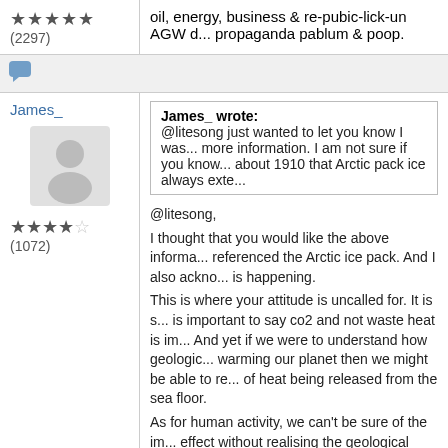★★★★★ (2297)
oil, energy, business & re-pubic-lick-un AGW d... propaganda pablum & poop.
[Figure (other): Chat/speech bubble icon in blue]
James_
[Figure (other): Generic grey user avatar silhouette]
★★★★☆ (1072)
James_ wrote: @litesong just wanted to let you know I was... more information. I am not sure if you know... about 1910 that Arctic pack ice always exte...
@litesong,
I thought that you would like the above informa... referenced the Arctic ice pack. And I also ackno... is happening.
This is where your attitude is uncalled for. It is s... is important to say co2 and not waste heat is im... And yet if we were to understand how geologic... warming our planet then we might be able to re... of heat being released from the sea floor.
As for human activity, we can't be sure of the im... effect without realising the geological contributi...

Jim

Is,